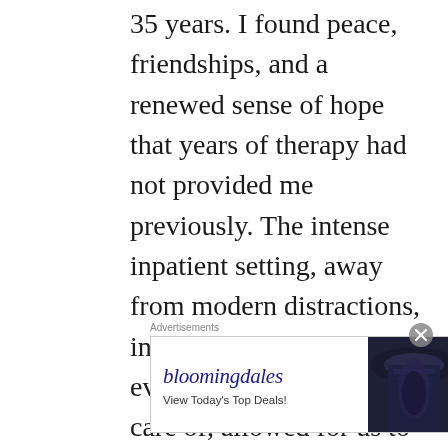35 years. I found peace, friendships, and a renewed sense of hope that years of therapy had not provided me previously. The intense inpatient setting, away from modern distractions, in a beautiful setting with every other need taken care of, allowed for us to truly focus on healing. We attended both individual and group sessions throughout as well as education classes about trauma. We had restorative exercise sessions (Muay Thai
[Figure (other): Bloomingdale's advertisement banner with logo, tagline 'View Today's Top Deals!', a woman wearing a wide-brim hat, and a 'SHOP NOW >' call-to-action button. Labeled 'Advertisements' above.]